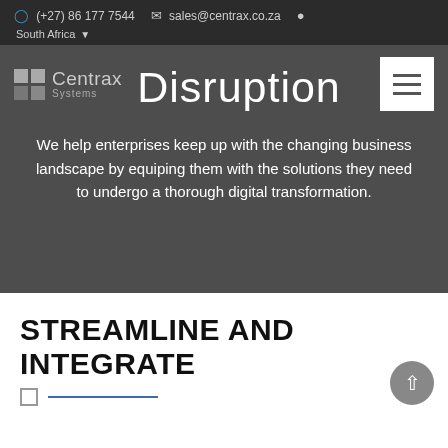(+27) 86 177 7544  sales@centrax.co.za  South Africa
[Figure (logo): Centrax Systems logo with grid squares]
Disruption
We help enterprises keep up with the changing business landscape by equiping them with the solutions they need to undergo a thorough digital transformation.
STREAMLINE AND INTEGRATE